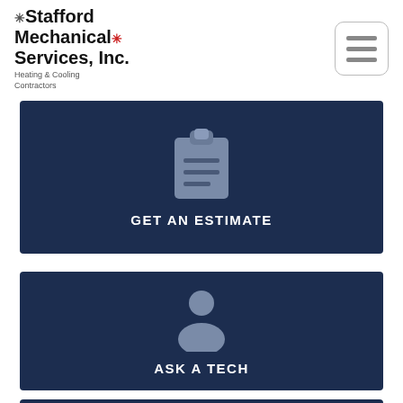[Figure (logo): Stafford Mechanical Services, Inc. logo with snowflake and sun icons, Heating & Cooling Contractors tagline]
[Figure (illustration): Hamburger menu icon (three horizontal lines) in a rounded rectangle]
[Figure (illustration): Dark navy banner with clipboard/checklist icon and GET AN ESTIMATE text]
[Figure (illustration): Dark navy banner with person/silhouette icon and ASK A TECH text]
[Figure (illustration): Partial dark navy banner visible at bottom of page]